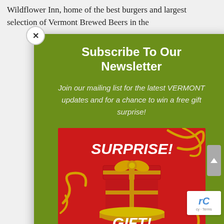Wildflower Inn, home of the best burgers and largest selection of Vermont Brewed Beers in the
Subscribe To Our Newsletter
Join our mailing list for the latest VERMONT updates and for a chance to win a free gift surprise!
[Figure (illustration): Red gift box with golden ribbon and bow with text SURPRISE! GIFT! on a red background with gold ribbons swirling around]